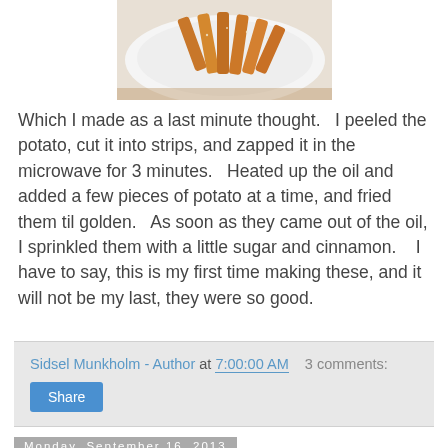[Figure (photo): Photo of sweet potato fries on a white plate on a wooden surface, seasoned with cinnamon and sugar]
Which I made as a last minute thought.   I peeled the potato, cut it into strips, and zapped it in the microwave for 3 minutes.   Heated up the oil and added a few pieces of potato at a time, and fried them til golden.   As soon as they came out of the oil, I sprinkled them with a little sugar and cinnamon.    I have to say, this is my first time making these, and it will not be my last, they were so good.
Sidsel Munkholm - Author at 7:00:00 AM    3 comments:
Share
Monday, September 16, 2013
Green Goddess Hummus for SRC